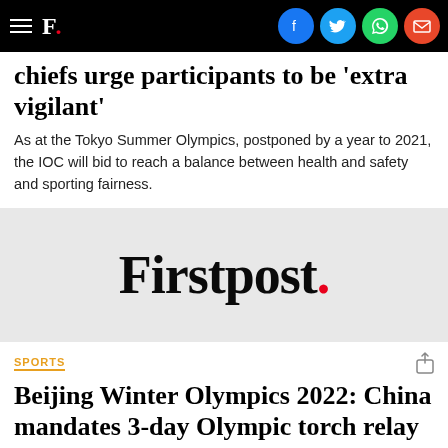Firstpost.
chiefs urge participants to be 'extra vigilant'
As at the Tokyo Summer Olympics, postponed by a year to 2021, the IOC will bid to reach a balance between health and safety and sporting fairness.
[Figure (logo): Firstpost logo in large serif font with red period on grey background]
SPORTS
Beijing Winter Olympics 2022: China mandates 3-day Olympic torch relay amid virus concerns